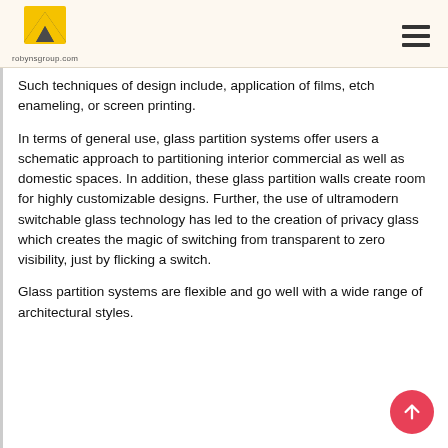robynsgroup.com
Such techniques of design include, application of films, etch enameling, or screen printing.
In terms of general use, glass partition systems offer users a schematic approach to partitioning interior commercial as well as domestic spaces. In addition, these glass partition walls create room for highly customizable designs. Further, the use of ultramodern switchable glass technology has led to the creation of privacy glass which creates the magic of switching from transparent to zero visibility, just by flicking a switch.
Glass partition systems are flexible and go well with a wide range of architectural styles.